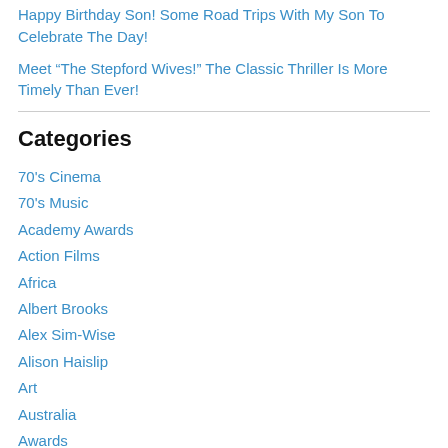Happy Birthday Son! Some Road Trips With My Son To Celebrate The Day!
Meet “The Stepford Wives!” The Classic Thriller Is More Timely Than Ever!
Categories
70's Cinema
70's Music
Academy Awards
Action Films
Africa
Albert Brooks
Alex Sim-Wise
Alison Haislip
Art
Australia
Awards
BACON
Blaxploitation!